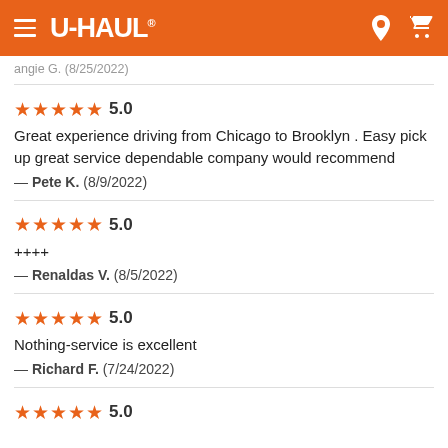U-HAUL
angie G.  (8/25/2022)
★★★★★ 5.0
Great experience driving from Chicago to Brooklyn . Easy pick up great service dependable company would recommend
— Pete K.  (8/9/2022)
★★★★★ 5.0
++++
— Renaldas V.  (8/5/2022)
★★★★★ 5.0
Nothing-service is excellent
— Richard F.  (7/24/2022)
★★★★★ 5.0